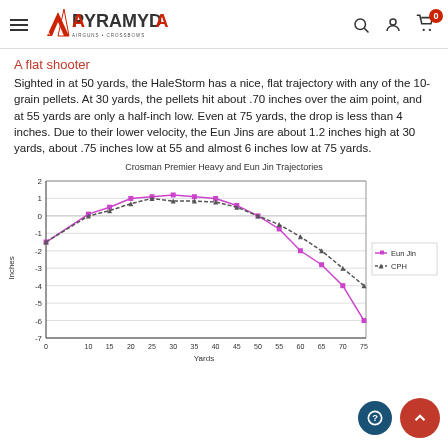Pyramyd Air — Airguns + Crossbows
A flat shooter
Sighted in at 50 yards, the HaleStorm has a nice, flat trajectory with any of the 10-grain pellets. At 30 yards, the pellets hit about .70 inches over the aim point, and at 55 yards are only a half-inch low. Even at 75 yards, the drop is less than 4 inches. Due to their lower velocity, the Eun Jins are about 1.2 inches high at 30 yards, about .75 inches low at 55 and almost 6 inches low at 75 yards.
[Figure (line-chart): Crosman Premier Heavy and Eun Jin Trajectories]